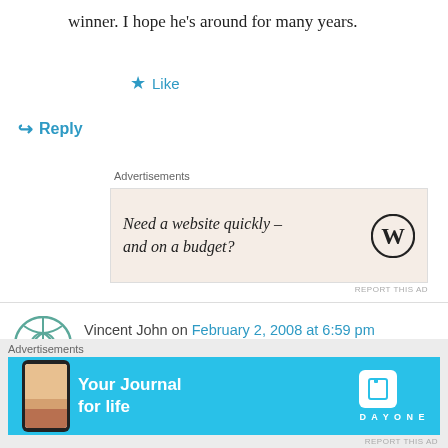winner. I hope he's around for many years.
★ Like
↪ Reply
Advertisements
[Figure (other): WordPress advertisement: 'Need a website quickly – and on a budget?' with WordPress logo on beige background]
REPORT THIS AD
Vincent John on February 2, 2008 at 6:59 pm
Kimi is truly the best F1 driver in today's stable of competitive athletes. He is cool, calm and focused. Never has a bad comment to say about anyone. Many people make fun of his speech
Advertisements
[Figure (other): Day One app advertisement: 'Your Journal for life' on blue background with app screenshot]
REPORT THIS AD